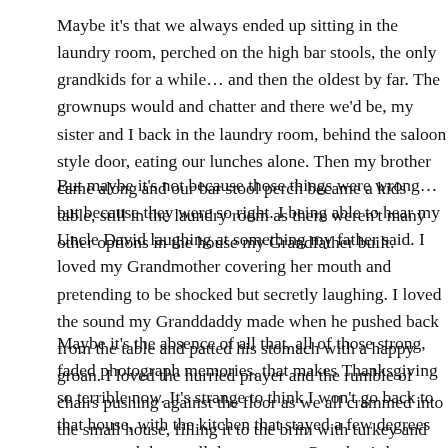Maybe it's that we always ended up sitting in the laundry room, perched on the high bar stools, the only grandkids for a while… and then the oldest by far. The grownups would and chatter and there we'd be, my sister and I back in the laundry room, behind the saloon style door, eating our lunches alone. Then my brother came along and our bar stool perch became a kids table, still in the laundry room as there weren't many other options in the house my Grandfather built.
But maybe it's not because those things were wrong… but because they were so right. I being able to hear my Uncle David laughing at something my father said. I loved my Grandmother covering her mouth and pretending to be shocked but secretly laughing. I loved the sound my Granddaddy made when he pushed back from the table and patted his stomach with a happy groan. I loved the hurried prayer and the rumble of chairs pushing against the floor as we all crammed into the small house, filling it to the brim with turkey and dressing and collards and love… so much love.
Maybe it's the absence of all that, all of those strong, faded photograph memories, that makes Thanksgiving so terrible now. It's strange to think I won't go back to that house, with the kitchen that stayed a few degrees warmer and the smell that was part Grandma's heavy powder with a twist of Granddaddy's country ham biscuits. Maybe that's what has made Thanksgiving so strange these last few years… the absence of family: the disappearance of a generation who shaped me into who I am, who cradled me from birth. Perhaps it's a longing for a time I can't get back, for people I can't have back. But still… I want my children to grow up embracing the idea behind Thanksgiving… the family togetherness, the love, the fo